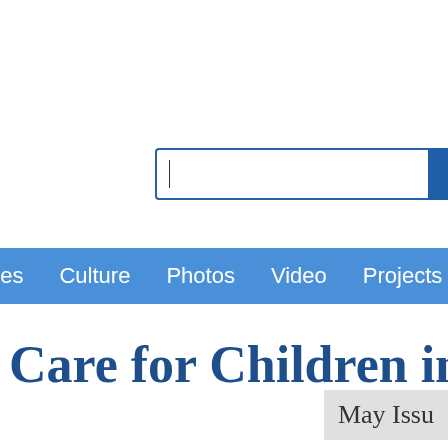[Figure (screenshot): Search input box with cursor and blue search button]
ges   Culture   Photos   Video   Projects   Speci
o Care for Children in
May Issu